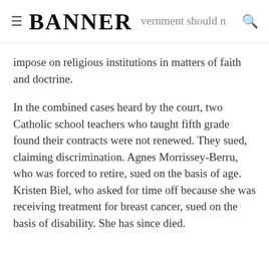≡ BANNER … government should not
impose on religious institutions in matters of faith and doctrine.
In the combined cases heard by the court, two Catholic school teachers who taught fifth grade found their contracts were not renewed. They sued, claiming discrimination. Agnes Morrissey-Berru, who was forced to retire, sued on the basis of age. Kristen Biel, who asked for time off because she was receiving treatment for breast cancer, sued on the basis of disability. She has since died.